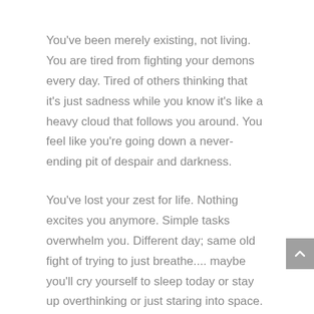You've been merely existing, not living. You are tired from fighting your demons every day. Tired of others thinking that it's just sadness while you know it's like a heavy cloud that follows you around. You feel like you're going down a never-ending pit of despair and darkness.
You've lost your zest for life. Nothing excites you anymore. Simple tasks overwhelm you. Different day; same old fight of trying to just breathe.... maybe you'll cry yourself to sleep today or stay up overthinking or just staring into space.